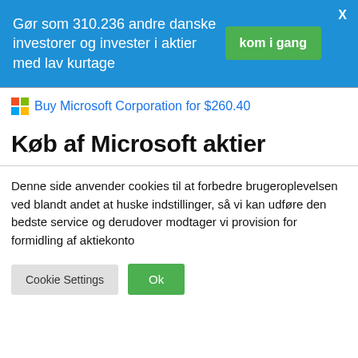Gør som 310.236 andre danske investorer og invester i aktier med lav kurtage
Buy Microsoft Corporation for $260.40
Køb af Microsoft aktier
Denne side anvender cookies til at forbedre brugeroplevelsen ved blandt andet at huske indstillinger, så vi kan udføre den bedste service og derudover modtager vi provision for formidling af aktiekonto